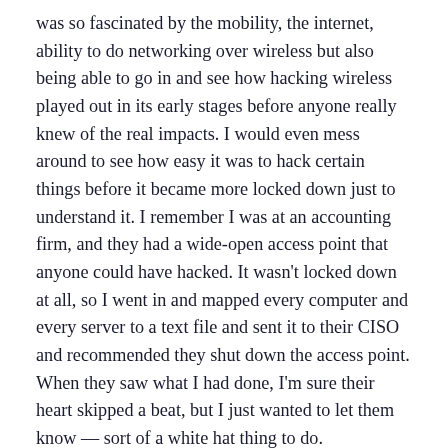was so fascinated by the mobility, the internet, ability to do networking over wireless but also being able to go in and see how hacking wireless played out in its early stages before anyone really knew of the real impacts. I would even mess around to see how easy it was to hack certain things before it became more locked down just to understand it. I remember I was at an accounting firm, and they had a wide-open access point that anyone could have hacked. It wasn't locked down at all, so I went in and mapped every computer and every server to a text file and sent it to their CISO and recommended they shut down the access point. When they saw what I had done, I'm sure their heart skipped a beat, but I just wanted to let them know — sort of a white hat thing to do.
Can you share the most interesting story that happened to you since you began this fascinating